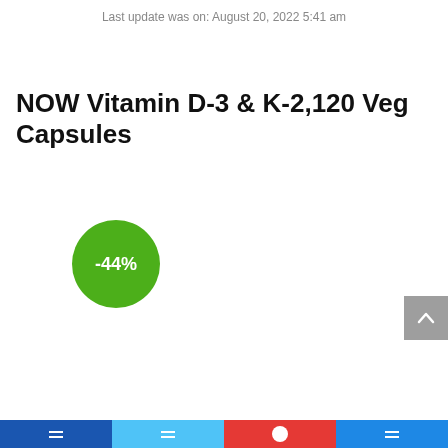Last update was on: August 20, 2022 5:41 am
NOW Vitamin D-3 & K-2,120 Veg Capsules
[Figure (infographic): Green circular discount badge showing -44%]
Social share / navigation bar at bottom